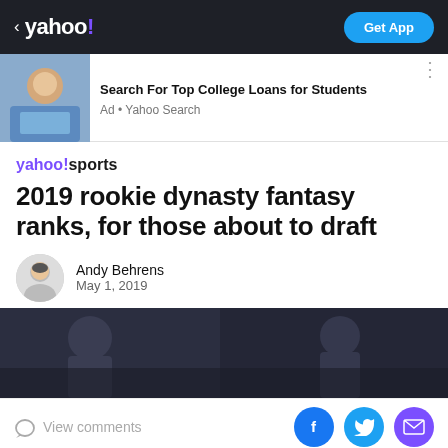< yahoo! | Get App
[Figure (screenshot): Ad banner: photo of woman studying with laptop, headline 'Search For Top College Loans for Students', subtext 'Ad • Yahoo Search']
Search For Top College Loans for Students
Ad • Yahoo Search
yahoo!sports
2019 rookie dynasty fantasy ranks, for those about to draft
Andy Behrens
May 1, 2019
[Figure (photo): Hero image of football players on the field, dark/blurred background]
View comments | Facebook | Twitter | Email